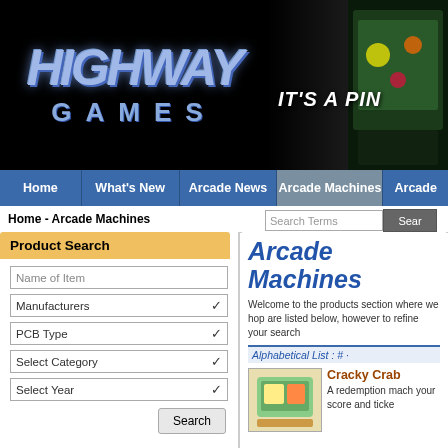[Figure (logo): Highway Games logo on black background with blue stylized text, adjacent to dark banner with pinball machine imagery and text 'IT'S A PIN']
Home | What's New | Arcade News | Arcade Machines | Arcade
Home - Arcade Machines
Product Search
Name of Item
Manufacturers
PCB Type
Select Category
Select Year
Arcade Machines
Welcome to the products section where we hop are listed below, however to refine your search
Alphabetical List : # ·
Cracky Crab
A redemption mach your score and ticke